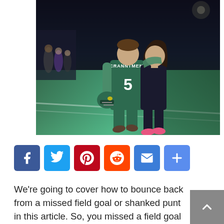[Figure (photo): A football player wearing a green jersey with number 5 and name on back, carrying a helmet at his side, walking arm-in-arm with a girl across a football field at night.]
Social media share buttons: Facebook, Twitter, Pinterest, Reddit, Email, More
We're going to cover how to bounce back from a missed field goal or shanked punt in this article. So, you missed a field goal or